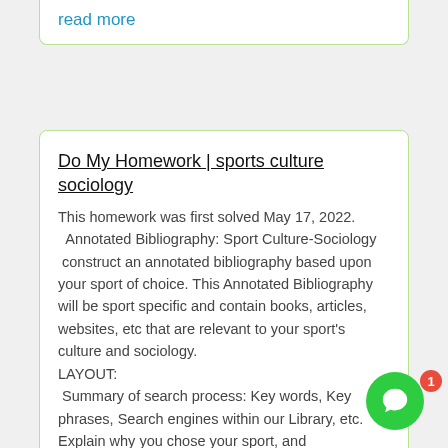read more
Do My Homework | sports culture sociology
This homework was first solved May 17, 2022.
  Annotated Bibliography: Sport Culture-Sociology
 construct an annotated bibliography based upon your sport of choice. This Annotated Bibliography will be sport specific and contain books, articles, websites, etc that are relevant to your sport's
culture and sociology.
LAYOUT:
 Summary of search process: Key words, Key phrases, Search engines within our Library, etc. Explain why you chose your sport, and